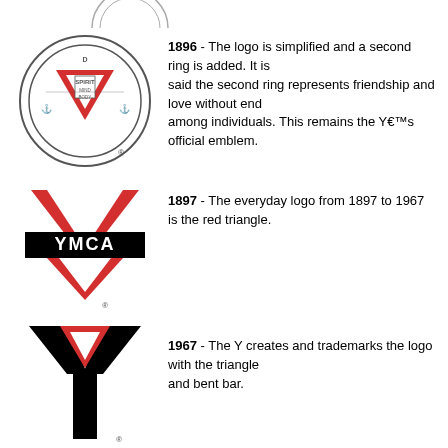[Figure (logo): Partial YMCA circular emblem visible at top of page]
[Figure (logo): 1896 YMCA circular emblem with red triangle, rings, and registered trademark symbol]
1896 - The logo is simplified and a second ring is added. It is said the second ring represents friendship and love without end among individuals. This remains the Y’s official emblem.
[Figure (logo): 1897-1967 YMCA red triangle logo with YMCA black bar and registered trademark symbol]
1897 - The everyday logo from 1897 to 1967 is the red triangle.
[Figure (logo): 1967 YMCA Y-shaped logo with red inverted triangle and bent bar with registered trademark symbol]
1967 - The Y creates and trademarks the logo with the triangle and bent bar.